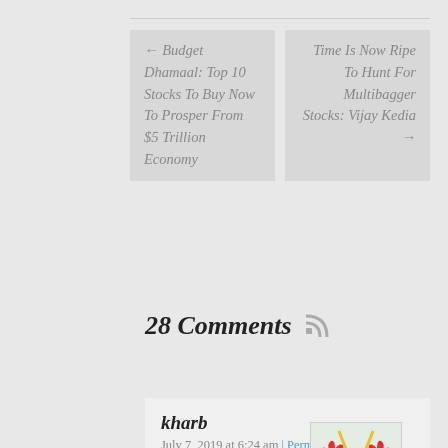← Budget Dhamaal: Top 10 Stocks To Buy Now To Prosper From $5 Trillion Economy
Time Is Now Ripe To Hunt For Multibagger Stocks: Vijay Kedia →
28 Comments
kharb
July 7, 2019 at 6:24 am | Permalink
Modi is election winning machine ,who has got the magic formula of winning elections..Formula is ,Tax those